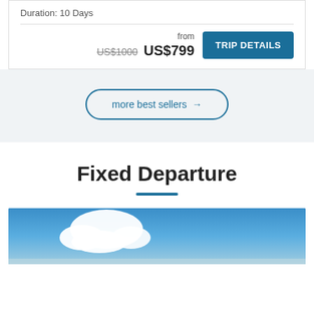Duration: 10 Days
from US$1000 US$799
TRIP DETAILS
more best sellers →
Fixed Departure
[Figure (photo): Blue sky with white clouds, partial view of a landscape below]